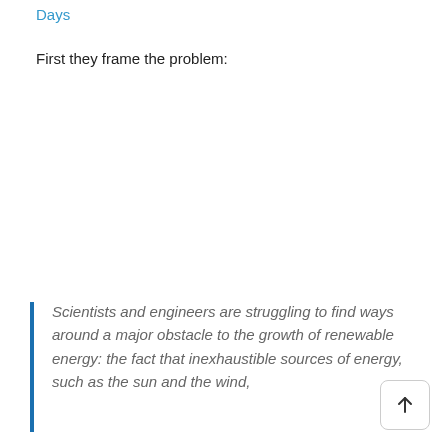Days
First they frame the problem:
Scientists and engineers are struggling to find ways around a major obstacle to the growth of renewable energy: the fact that inexhaustible sources of energy, such as the sun and the wind,